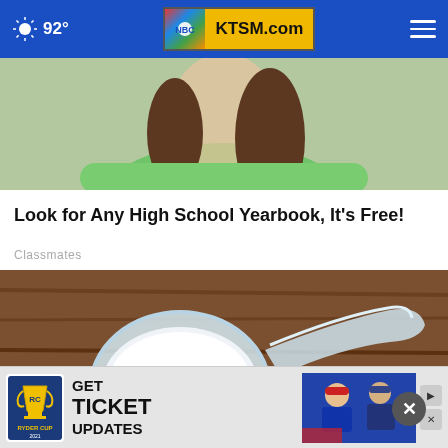92° KTSM.com
[Figure (photo): Partial view of a person wearing a light green sweater with brown hair]
Look for Any High School Yearbook, It's Free!
Classmates
[Figure (photo): A plastic measuring scoop filled with white powder resting on a wooden surface]
[Figure (photo): Advertisement banner: GET TICKET UPDATES - Ryder Cup, featuring two golfers]